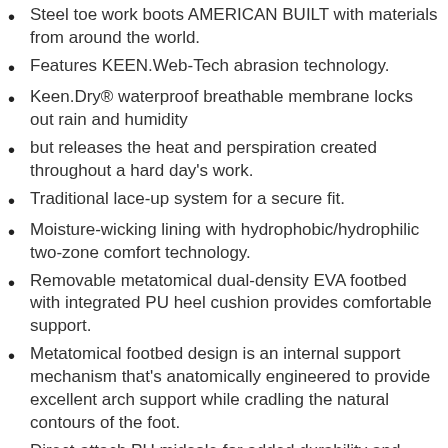Steel toe work boots AMERICAN BUILT with materials from around the world.
Features KEEN.Web-Tech abrasion technology.
Keen.Dry® waterproof breathable membrane locks out rain and humidity
but releases the heat and perspiration created throughout a hard day's work.
Traditional lace-up system for a secure fit.
Moisture-wicking lining with hydrophobic/hydrophilic two-zone comfort technology.
Removable metatomical dual-density EVA footbed with integrated PU heel cushion provides comfortable support.
Metatomical footbed design is an internal support mechanism that's anatomically engineered to provide excellent arch support while cradling the natural contours of the foot.
Direct-attach PU midsole for added durability and